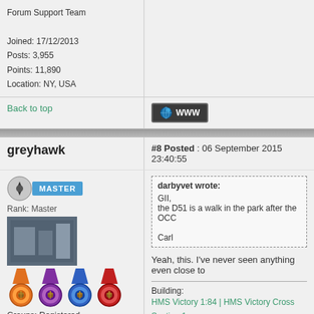Forum Support Team
Joined: 17/12/2013
Posts: 3,955
Points: 11,890
Location: NY, USA
Back to top
[Figure (other): WWW button with globe icon]
greyhawk  #8 Posted : 06 September 2015 23:40:55
[Figure (other): User rank badge: Master, with avatar image and colored medals]
Rank: Master
Groups: Registered
Joined: 19/05/2015
Posts: 1,419
Points: 4,272
Location: Darmstadt, Germany
darbyvet wrote:
GII,
the D51 is a walk in the park after the OCC...
Carl
Yeah, this. I've never seen anything even close to...
Building:
HMS Victory 1:84 | HMS Victory Cross Section 1:...
Citroen 2 CV Charleston 1:8 | Lamborghini Count...
Panzerkampfwagen VI Tiger 1:16 | Hachette Gru...
JNCR D51 1:24 | Bavarian S 3/6 1:32 (Eaglemos...
Back to top